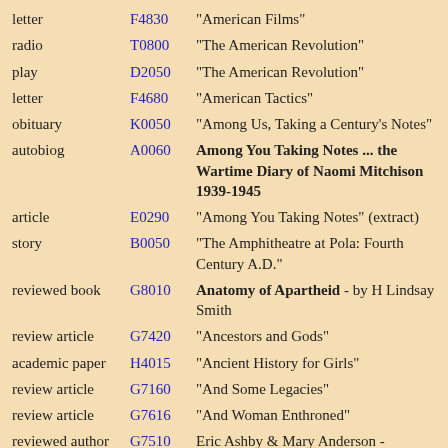letter F4830 "American Films"
radio T0800 "The American Revolution"
play D2050 "The American Revolution"
letter F4680 "American Tactics"
obituary K0050 "Among Us, Taking a Century's Notes"
autobiog A0060 Among You Taking Notes ... the Wartime Diary of Naomi Mitchison 1939-1945
article E0290 "Among You Taking Notes" (extract)
story B0050 "The Amphitheatre at Pola: Fourth Century A.D."
reviewed book G8010 Anatomy of Apartheid - by H Lindsay Smith
review article G7420 "Ancestors and Gods"
academic paper H4015 "Ancient History for Girls"
review article G7160 "And Some Legacies"
review article G7616 "And Woman Enthroned"
reviewed author G7510 Eric Ashby & Mary Anderson - Portrait of Haldane
reviewed G8438 An Angel At My Table: Autobiography